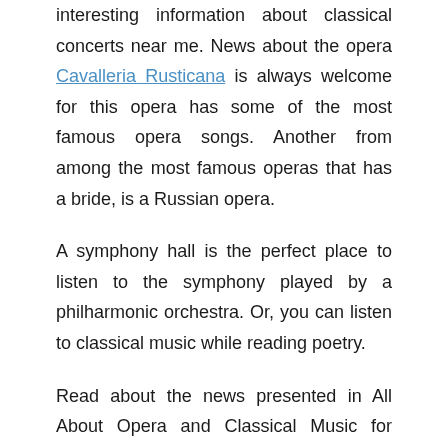interesting information about classical concerts near me. News about the opera Cavalleria Rusticana is always welcome for this opera has some of the most famous opera songs. Another from among the most famous operas that has a bride, is a Russian opera.
A symphony hall is the perfect place to listen to the symphony played by a philharmonic orchestra. Or, you can listen to classical music while reading poetry.
Read about the news presented in All About Opera and Classical Music for 2009.
Read to Discover News from 2009